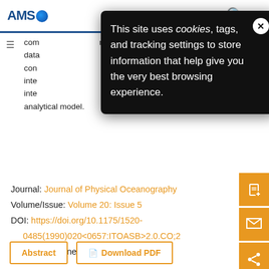AMS [American Meteorological Society logo]
[Figure (screenshot): Cookie consent popup overlay with dark background reading: This site uses cookies, tags, and tracking settings to store information that help give you the very best browsing experience. With a close (X) button.]
...com... ...nd data... ...th a con... inte... inte... analytical model.
Journal: Journal of Physical Oceanography
Volume/Issue: Volume 20: Issue 5
DOI: https://doi.org/10.1175/1520-0485(1990)020<0657:ITOASB>2.0.CO;2
Published Online: May 1990